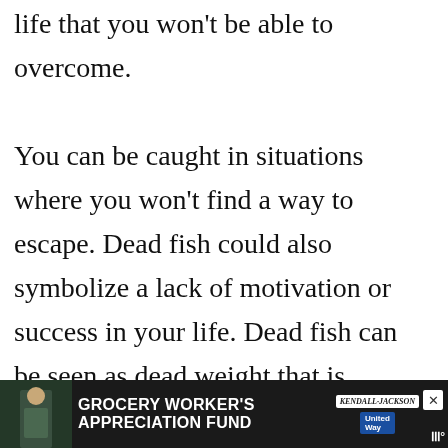life that you won't be able to overcome. You can be caught in situations where you won't find a way to escape. Dead fish could also symbolize a lack of motivation or success in your life. Dead fish can be seen as dead weight that is holding you back, preventing you from moving forward with the rest of your life.
[Figure (other): Heart icon button (teal/blue circle with heart symbol) and share icon button (light grey circle with share symbol), plus a 'WHAT'S NEXT' widget showing a thumbnail of a lighthouse/sea image and text 'Fish Dream Meaning –...']
In cultures all over the globe, there are m...
[Figure (infographic): Advertisement banner: dark background with image of grocery worker, text 'GROCERY WORKER'S APPRECIATION FUND', Kendall Jackson logo, United Way logo, close button, and 'W' logo in corner]